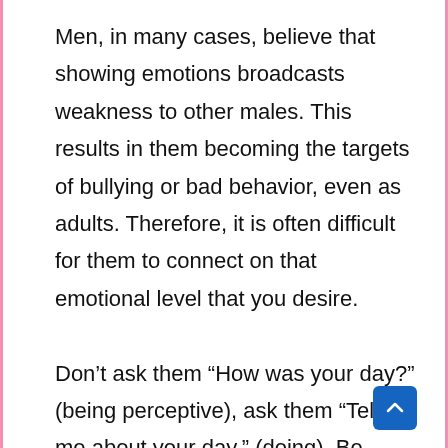Men, in many cases, believe that showing emotions broadcasts weakness to other males. This results in them becoming the targets of bullying or bad behavior, even as adults. Therefore, it is often difficult for them to connect on that emotional level that you desire.

Don't ask them “How was your day?” (being perceptive), ask them “Tell me about your day.” (doing). Be patient and